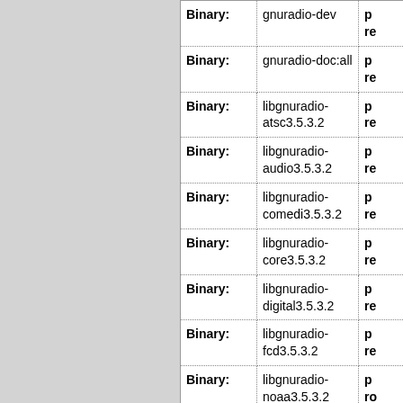| Field | Value | Extra |
| --- | --- | --- |
| Binary: | gnuradio-dev | p re |
| Binary: | gnuradio-doc:all | p re |
| Binary: | libgnuradio-atsc3.5.3.2 | p re |
| Binary: | libgnuradio-audio3.5.3.2 | p re |
| Binary: | libgnuradio-comedi3.5.3.2 | p re |
| Binary: | libgnuradio-core3.5.3.2 | p re |
| Binary: | libgnuradio-digital3.5.3.2 | p re |
| Binary: | libgnuradio-fcd3.5.3.2 | p re |
| Binary: | libgnuradio-noaa3.5.3.2 | p re |
| Binary: | libgnuradio-pager3.5.3.2 | p re |
| Binary: | libgnuradio-... | p re |